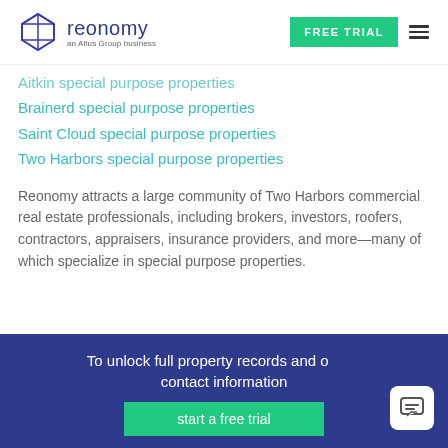[Figure (logo): Reonomy logo - geometric diamond shape with 'reonomy an Altus Group business' text]
Aitkin special purpose properties
Brainerd special purpose properties
Saint Cloud special purpose properties
Two Harbors special purpose properties
Reonomy attracts a large community of Two Harbors commercial real estate professionals, including brokers, investors, roofers, contractors, appraisers, insurance providers, and more—many of which specialize in special purpose properties.
To unlock full property records and owner contact information
start a free trial